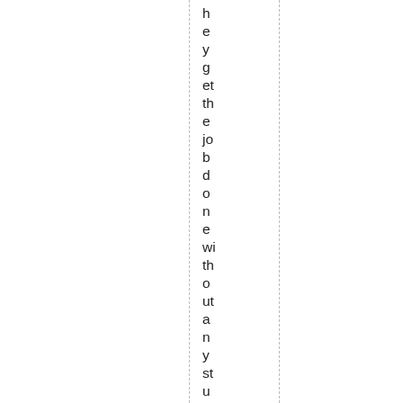hey get the job done without any stupid parallels a